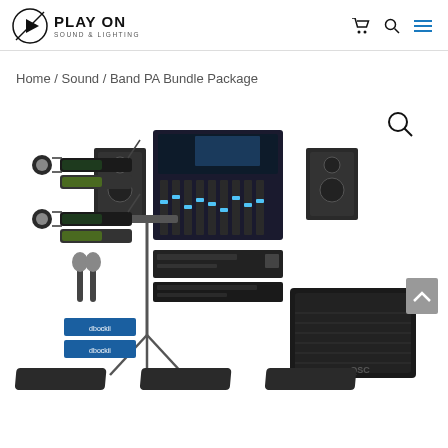Play On Sound & Lighting — navigation header with logo, cart, search, and menu icons
Home / Sound / Band PA Bundle Package
[Figure (photo): Product photo showing a Band PA Bundle Package including wireless microphones, wired microphones, a digital mixing console, speaker cabinets on stands, rack-mounted equipment, a subwoofer, monitor wedges, and DI boxes arranged on a white background.]